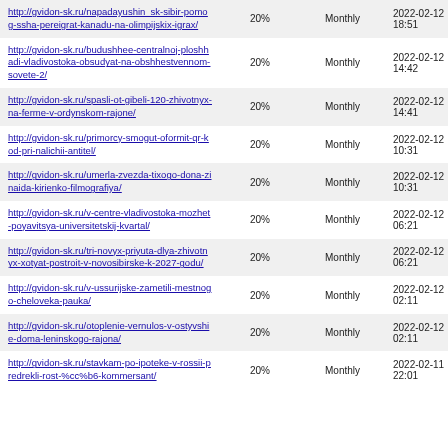| URL | Priority | Change Frequency | Last Modified |
| --- | --- | --- | --- |
| http://gvidon-sk.ru/napadayushin_sk-sibir-pomog-ssha-pereigrat-kanadu-na-olimpijskix-igrax/ | 20% | Monthly | 2022-02-12 18:51 |
| http://gvidon-sk.ru/budushhee-centralnoj-ploshhadi-vladivostoka-obsudyat-na-obshhestvennom-sovete-2/ | 20% | Monthly | 2022-02-12 14:42 |
| http://gvidon-sk.ru/spasli-ot-gibeli-120-zhivotnyx-na-ferme-v-ordynskom-rajone/ | 20% | Monthly | 2022-02-12 14:41 |
| http://gvidon-sk.ru/primorcy-smogut-oformit-qr-kod-pri-nalichii-antitel/ | 20% | Monthly | 2022-02-12 10:31 |
| http://gvidon-sk.ru/umerla-zvezda-tixogo-dona-zinaida-kirienko-filmografiya/ | 20% | Monthly | 2022-02-12 10:31 |
| http://gvidon-sk.ru/v-centre-vladivostoka-mozhet-poyavitsya-universitetskij-kvartal/ | 20% | Monthly | 2022-02-12 06:21 |
| http://gvidon-sk.ru/tri-novyx-priyuta-dlya-zhivotnyx-xotyat-postroit-v-novosibirske-k-2027-godu/ | 20% | Monthly | 2022-02-12 06:21 |
| http://gvidon-sk.ru/v-ussurijske-zametili-mestnogo-cheloveka-pauka/ | 20% | Monthly | 2022-02-12 02:11 |
| http://gvidon-sk.ru/otoplenie-vernulos-v-ostyvshie-doma-leninskogo-rajona/ | 20% | Monthly | 2022-02-12 02:11 |
| http://gvidon-sk.ru/stavkam-po-ipoteke-v-rossii-predrekli-rost-%cc%b6-kommersant/ | 20% | Monthly | 2022-02-11 22:01 |